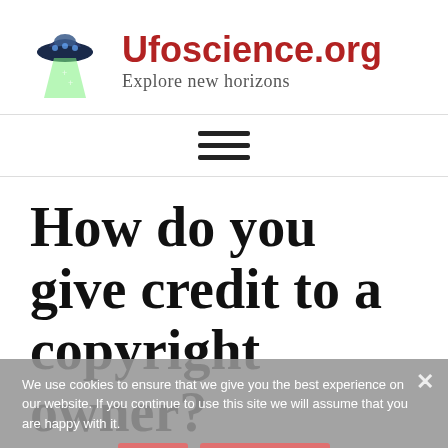Ufoscience.org — Explore new horizons
[Figure (logo): UFO/flying saucer cartoon logo with green tractor beam]
How do you give credit to a copyright owner?
We use cookies to ensure that we give you the best experience on our website. If you continue to use this site we will assume that you are happy with it.
Ok   Privacy policy